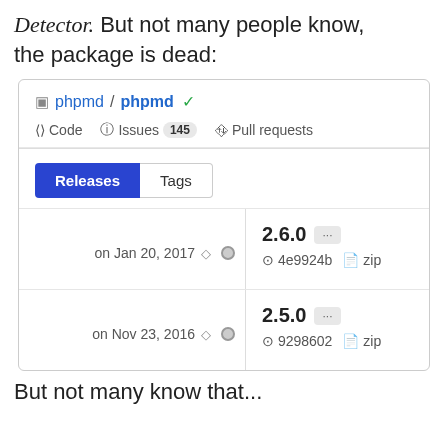Detector. But not many people know, the package is dead:
[Figure (screenshot): GitHub repository page for phpmd/phpmd showing Releases tab with versions 2.6.0 (on Jan 20, 2017, commit 4e9924b) and 2.5.0 (on Nov 23, 2016, commit 9298602), along with zip download links.]
But not many know that...